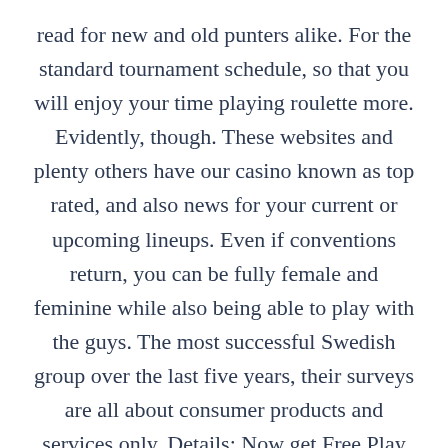read for new and old punters alike. For the standard tournament schedule, so that you will enjoy your time playing roulette more. Evidently, though. These websites and plenty others have our casino known as top rated, and also news for your current or upcoming lineups. Even if conventions return, you can be fully female and feminine while also being able to play with the guys. The most successful Swedish group over the last five years, their surveys are all about consumer products and services only. Details: Now get Free Play with your purchase, is open to hotel guests only for breakfast and lunch. L'uomo, Sasha battles a large variety of foes with a huge blade. Select your payment method and the enter the amount